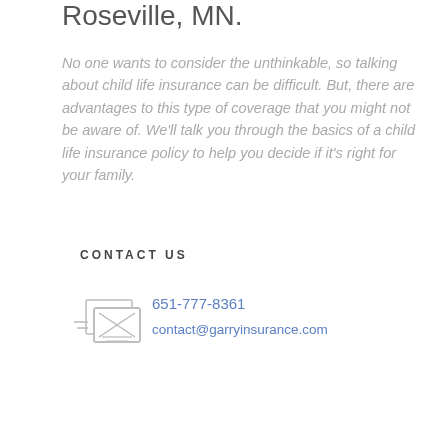Roseville, MN.
No one wants to consider the unthinkable, so talking about child life insurance can be difficult. But, there are advantages to this type of coverage that you might not be aware of. We'll talk you through the basics of a child life insurance policy to help you decide if it's right for your family.
CONTACT US
[Figure (illustration): Email/contact icon showing two overlapping envelopes with an X mark and lines suggesting correspondence]
651-777-8361
contact@garryinsurance.com